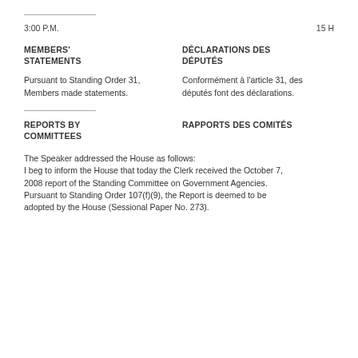3:00 P.M.                                                    15 H
MEMBERS' STATEMENTS
DÉCLARATIONS DES DÉPUTÉS
Pursuant to Standing Order 31, Members made statements.
Conformément à l'article 31, des députés font des déclarations.
REPORTS BY COMMITTEES
RAPPORTS DES COMITÉS
The Speaker addressed the House as follows: I beg to inform the House that today the Clerk received the October 7, 2008 report of the Standing Committee on Government Agencies.  Pursuant to Standing Order 107(f)(9), the Report is deemed to be adopted by the House (Sessional Paper No. 273).